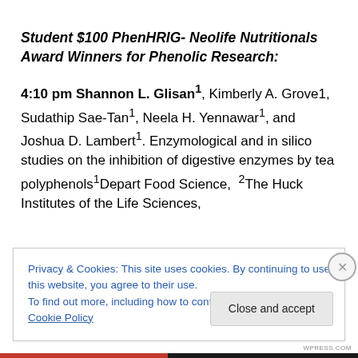Student $100 PhenHRIG- Neolife Nutritionals Award Winners for Phenolic Research:
4:10 pm Shannon L. Glisan1, Kimberly A. Grove1, Sudathip Sae-Tan1, Neela H. Yennawar1, and Joshua D. Lambert1. Enzymological and in silico studies on the inhibition of digestive enzymes by tea polyphenols1Depart Food Science,  2The Huck Institutes of the Life Sciences,
Privacy & Cookies: This site uses cookies. By continuing to use this website, you agree to their use.
To find out more, including how to control cookies, see here: Cookie Policy